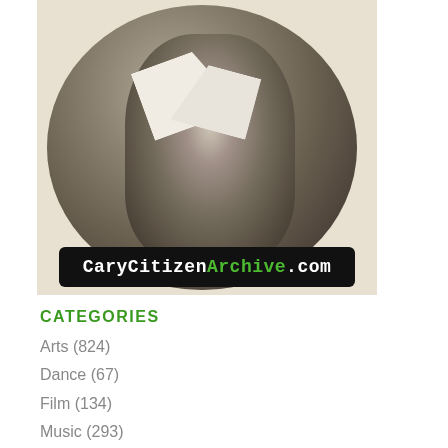[Figure (photo): Circular black-and-white portrait photograph of Catherine Raboteau Page, showing a person in formal attire with a white collar/tie, with a CaryCitizenArchive.com logo overlay at the bottom]
Catherine Raboteau Page
CATEGORIES
Arts (824)
Dance (67)
Film (134)
Music (293)